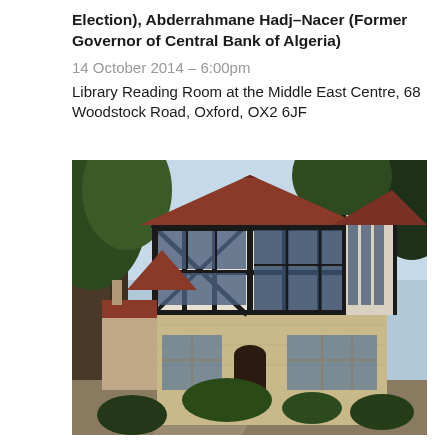Election), Abderrahmane Hadj-Nacer (Former Governor of Central Bank of Algeria)
14 October 2014 – 6:00pm
Library Reading Room at the Middle East Centre, 68 Woodstock Road, Oxford, OX2 6JF
[Figure (photo): Exterior photograph of a Tudor-style building with black and white timber framing, red tile roof, stone lower level, large windows, surrounded by tall trees. This is the Middle East Centre at 68 Woodstock Road, Oxford.]